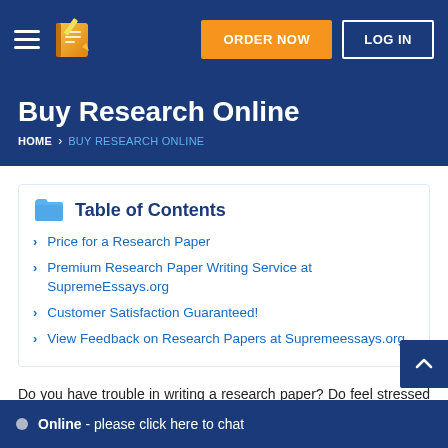ORDER NOW | LOG IN
Buy Research Online
HOME > BUY RESEARCH ONLINE
Table of Contents
Price for a Research Paper
Premium Research Paper Writing Service at SupremeEssays.org
Customer Satisfaction Guaranteed!
View Feedback on Research Papers at Supremeessays.org
Do you have trouble in writing a research paper? Do feel stressed because needed to be comp
Online - please click here to chat